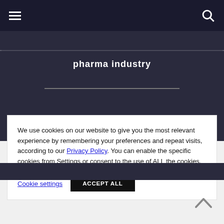pharma industry
We use cookies on our website to give you the most relevant experience by remembering your preferences and repeat visits, according to our Privacy Policy. You can enable the specific cookies from Settings or consent to the use of ALL the cookies.
Cookie settings
ACCEPT ALL